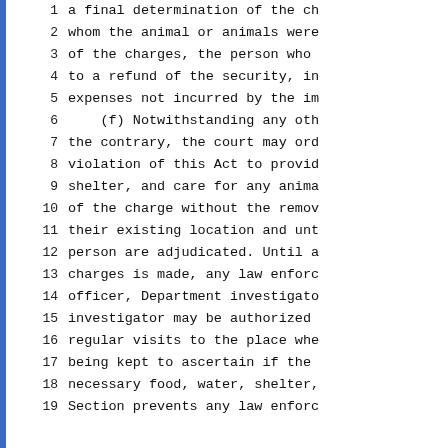1   a final determination of the ch
2   whom the animal or animals were
3   of the charges, the person who
4   to a refund of the security, in
5   expenses not incurred by the im
6       (f) Notwithstanding any oth
7   the contrary, the court may ord
8   violation of this Act to provid
9   shelter, and care for any anima
10  of the charge without the remov
11  their existing location and unt
12  person are adjudicated. Until a
13  charges is made, any law enforc
14  officer, Department investigato
15  investigator may be authorized
16  regular visits to the place whe
17  being kept to ascertain if the
18  necessary food, water, shelter,
19  Section prevents any law enforc